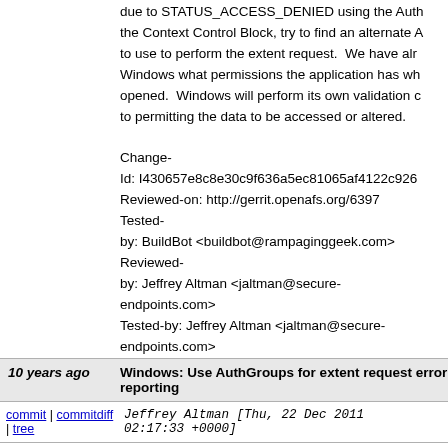due to STATUS_ACCESS_DENIED using the Auth the Context Control Block, try to find an alternate A to use to perform the extent request. We have alr Windows what permissions the application has wh opened. Windows will perform its own validation c to permitting the data to be accessed or altered.

Change-
Id: I430657e8c8e30c9f636a5ec81065af4122c926
Reviewed-on: http://gerrit.openafs.org/6397
Tested-
by: BuildBot <buildbot@rampaginggeek.com>
Reviewed-
by: Jeffrey Altman <jaltman@secure-endpoints.com>
Tested-by: Jeffrey Altman <jaltman@secure-endpoints.com>
10 years ago   Windows: Use AuthGroups for extent request error reporting
commit | commitdiff | tree   Jeffrey Altman [Thu, 22 Dec 2011 02:17:33 +0000]
Windows: Use AuthGroups for extent request erro

The afs redirector current tracks the most recent e in the File Control Block. Prior to this patchset the was returned to the requesting thread when the pr